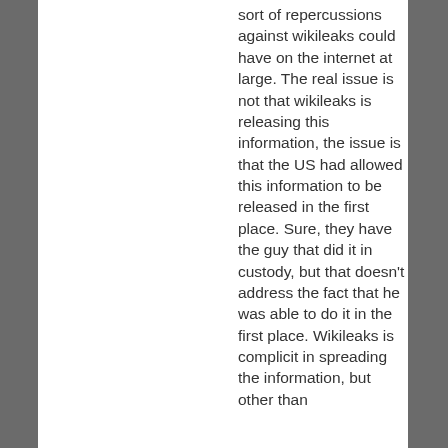sort of repercussions against wikileaks could have on the internet at large. The real issue is not that wikileaks is releasing this information, the issue is that the US had allowed this information to be released in the first place. Sure, they have the guy that did it in custody, but that doesn't address the fact that he was able to do it in the first place. Wikileaks is complicit in spreading the information, but other than